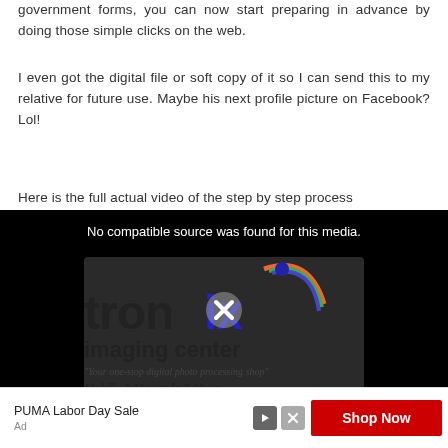government forms, you can now start preparing in advance by doing those simple clicks on the web.
I even got the digital file or soft copy of it so I can send this to my relative for future use. Maybe his next profile picture on Facebook? Lol!
Here is the full actual video of the step by step process
[Figure (screenshot): Video player showing 'No compatible source was found for this media.' with a Tronix Imaging Center logo in the background and a close (X) button overlay]
[Figure (other): Advertisement banner: PUMA Labor Day Sale with a red 'Shop Now' button, play and close icons, and 'Ad' label at bottom left]